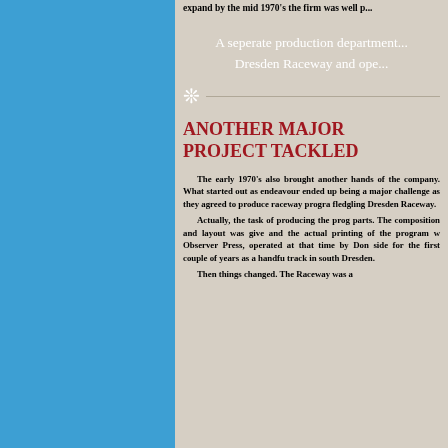expand by the mid 1970's the firm was well p...
A seperate production department... Dresden Raceway and ope...
ANOTHER MAJOR PROJECT TACKLED
The early 1970's also brought another... hands of the company. What started out as... endeavour ended up being a major challenge... as they agreed to produce raceway progra... fledgling Dresden Raceway. Actually, the task of producing the prog... parts. The composition and layout was give... and the actual printing of the program w... Observer Press, operated at that time by Don... side for the first couple of years as a handfu... track in south Dresden. Then things changed. The Raceway was a...